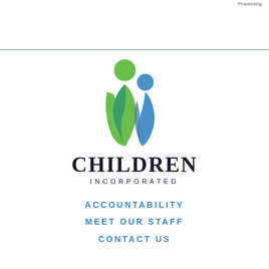Processing
[Figure (logo): Children Incorporated logo: two abstract figures (green adult and blue child) intertwined, with text 'CHILDREN INCORPORATED' below]
ACCOUNTABILITY
MEET OUR STAFF
CONTACT US